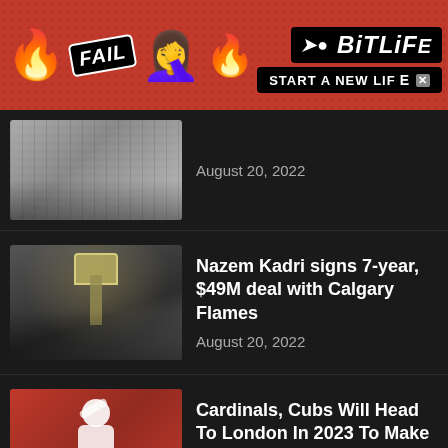[Figure (screenshot): BitLife advertisement banner at top with FAIL label, fire emoji, face-palm emoji, and START A NEW LIFE button]
[Figure (photo): Sports photo thumbnail - crowd and white jerseys]
August 20, 2022
[Figure (photo): Hockey player lifting Stanley Cup trophy]
Nazem Kadri signs 7-year, $49M deal with Calgary Flames
August 20, 2022
[Figure (photo): Baseball pitcher in white Cardinals uniform]
Cardinals, Cubs Will Head To London In 2023 To Make Some...
August 19, 2022
[Figure (screenshot): BitLife advertisement banner at bottom with FAIL label, fire emoji, face-palm emoji, and START A NEW LIFE button]